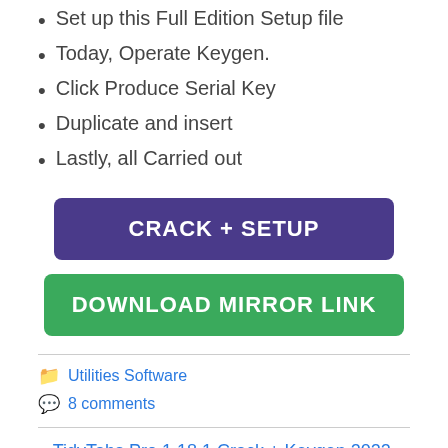Set up this Full Edition Setup file
Today, Operate Keygen.
Click Produce Serial Key
Duplicate and insert
Lastly, all Carried out
[Figure (other): Purple button labeled CRACK + SETUP]
[Figure (other): Green button labeled DOWNLOAD MIRROR LINK]
Utilities Software
8 comments
« TidyTabs Pro 1.18.1 Crack + Keygen 2022 Free Download [Latest]
NeoDownloader 4.0 Build 253 With Crack Download